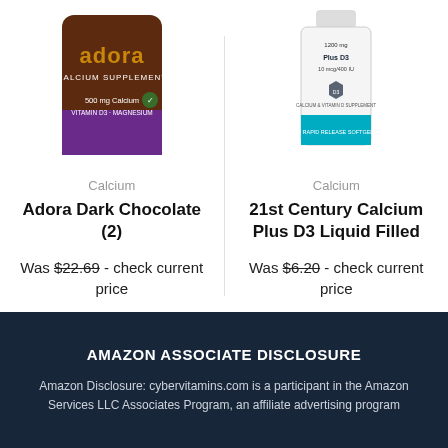[Figure (photo): Adora Calcium Supplement dark chocolate bag, 500mg Calcium with Vitamin D3 and Magnesium]
Calcium
Adora Dark Chocolate (2)
Was $22.69 - check current price
[Figure (photo): 21st Century Calcium Plus D3 Liquid Filled supplement bottle]
Calcium
21st Century Calcium Plus D3 Liquid Filled
Was $6.20 - check current price
AMAZON ASSOCIATE DISCLOSURE
Amazon Disclosure: cybervitamins.com is a participant in the Amazon Services LLC Associates Program, an affiliate advertising program